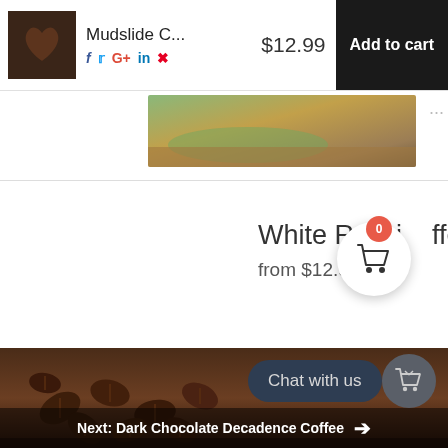Mudslide C... $12.99 Add to cart
[Figure (screenshot): Partial landscape photo with green and brown tones]
White Russian Coffee from $12.99
[Figure (infographic): Shopping cart bubble with badge showing 0]
[Figure (photo): Coffee beans on dark wooden surface background]
Chat with us
Next: Dark Chocolate Decadence Coffee →